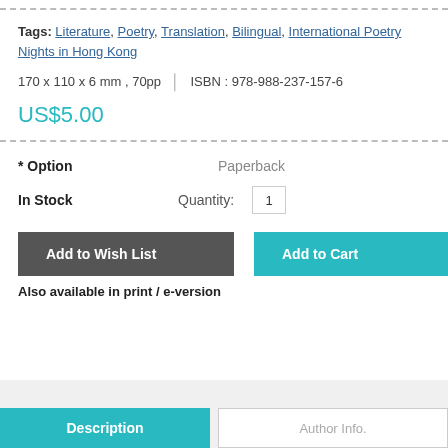Tags: Literature, Poetry, Translation, Bilingual, International Poetry Nights in Hong Kong
170 x 110 x 6 mm , 70pp  |  ISBN : 978-988-237-157-6
US$5.00
* Option   Paperback
In Stock   Quantity: 1
Add to Wish List
Add to Cart
Also available in print / e-version
Description
Author Info.